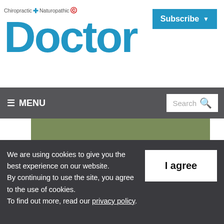Chiropractic + Naturopathic Doctor
Doctor
Subscribe
≡ MENU   Search 🔍
[Figure (photo): Man in dark suit with purple tie and boutonniere, photographed from neck down outdoors]
We are using cookies to give you the best experience on our website.
By continuing to use the site, you agree to the use of cookies.
To find out more, read our privacy policy.
I agree